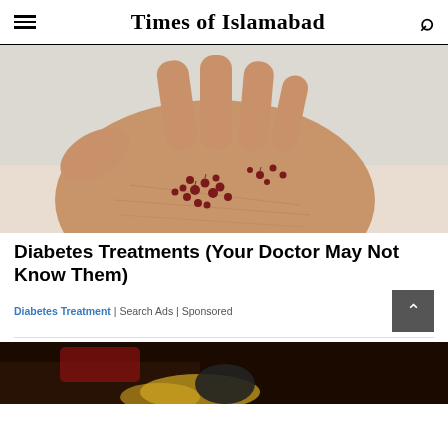Times of Islamabad
[Figure (photo): Close-up of an open human palm holding small dark red berries/seeds scattered across the hand against a light grey background]
Diabetes Treatments (Your Doctor May Not Know Them)
Diabetes Treatment | Search Ads | Sponsored
[Figure (photo): Partial view of a person wearing black and gold/yellow clothing, bottom portion of page]